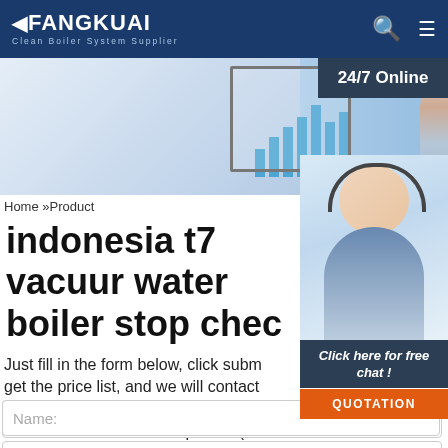FANGKUAI Clean Boiler System Supplier
[Figure (photo): Banner image showing a woman with headset at a desk with a monitor displaying a bar chart, with a 24/7 Online overlay panel]
[Figure (photo): Customer service representative with headset smiling, with chat popup 'Click here for free chat!' and QUOTATION button]
Home »Product
indonesia t7 vacuum water boiler stop chec
Just fill in the form below, click subm get the price list, and we will contact one working day. Please also feel free to contact us via email or phone. (* is required).
Name:
Email: